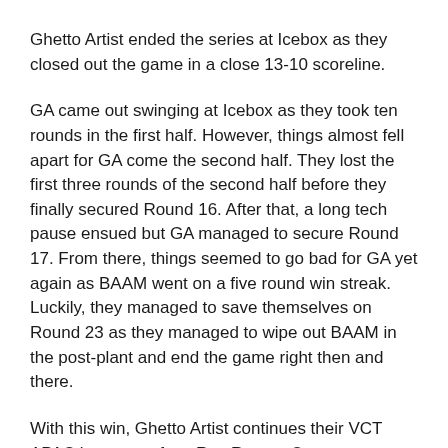Ghetto Artist ended the series at Icebox as they closed out the game in a close 13-10 scoreline.
GA came out swinging at Icebox as they took ten rounds in the first half. However, things almost fell apart for GA come the second half. They lost the first three rounds of the second half before they finally secured Round 16. After that, a long tech pause ensued but GA managed to secure Round 17. From there, things seemed to go bad for GA yet again as BAAM went on a five round win streak. Luckily, they managed to save themselves on Round 23 as they managed to wipe out BAAM in the post-plant and end the game right then and there.
With this win, Ghetto Artist continues their VCT APAC journey to face Rex Regum Qeon Philippines next.